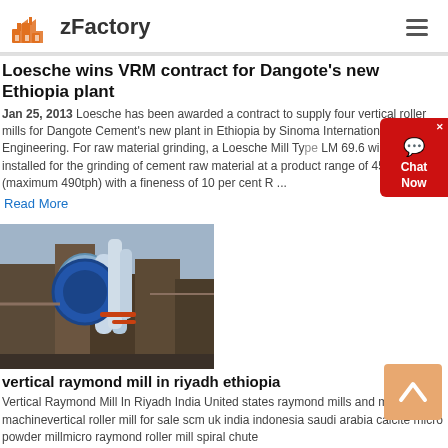zFactory
Loesche wins VRM contract for Dangote's new Ethiopia plant
Jan 25, 2013  Loesche has been awarded a contract to supply four vertical roller mills for Dangote Cement's new plant in Ethiopia by Sinoma International Engineering. For raw material grinding, a Loesche Mill Type LM 69.6 will be installed for the grinding of cement raw material at a product range of 450tph (maximum 490tph) with a fineness of 10 per cent R ...
Read More
[Figure (photo): Industrial vertical mill / grinding equipment at a factory site with pipes and machinery]
vertical raymond mill in riyadh ethiopia
Vertical Raymond Mill In Riyadh India United states raymond mills and making machinevertical roller mill for sale scm uk india indonesia saudi arabia calcite micro powder millmicro raymond roller mill spiral chute